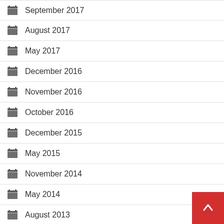September 2017
August 2017
May 2017
December 2016
November 2016
October 2016
December 2015
May 2015
November 2014
May 2014
August 2013
May 2013
April 2013